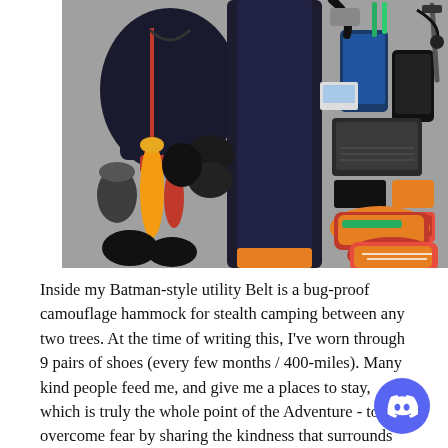[Figure (photo): Flat lay of travel/camping gear including a dark jacket with red accents, running shoes, socks, gloves, hats, a sleeping bag, electronics (phones, tablet, laptop), and various accessories arranged on a grey surface.]
Inside my Batman-style utility Belt is a bug-proof camouflage hammock for stealth camping between any two trees. At the time of writing this, I've worn through 9 pairs of shoes (every few months / 400-miles). Many kind people feed me, and give me a places to stay, which is truly the whole point of the Adventure - to overcome fear by sharing the kindness that surrounds us all.